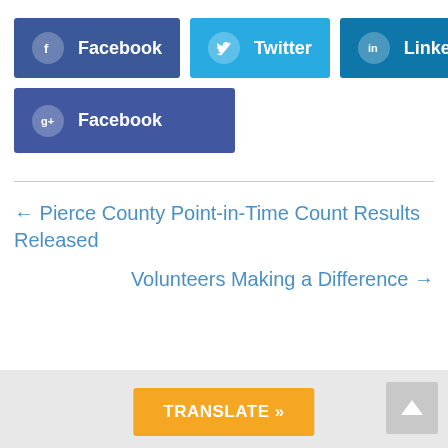[Figure (infographic): Social sharing buttons: Facebook (dark blue), Twitter (light blue), LinkedIn (dark blue), and Google+ Facebook (dark blue)]
← Pierce County Point-in-Time Count Results Released
Volunteers Making a Difference →
[Figure (other): TRANSLATE » button in orange at the bottom, with a grey back-to-top arrow button on the right]